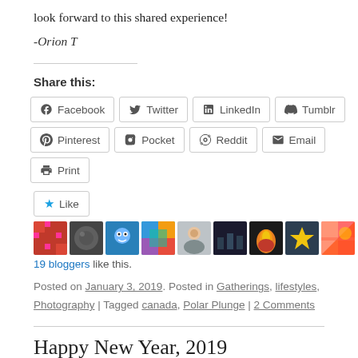look forward to this shared experience!
-Orion T
Share this:
Facebook
Twitter
LinkedIn
Tumblr
Pinterest
Pocket
Reddit
Email
Print
[Figure (other): Like button with star icon and avatar images of 19 bloggers who liked this post]
19 bloggers like this.
Posted on January 3, 2019. Posted in Gatherings, lifestyles, Photography | Tagged canada, Polar Plunge | 2 Comments
Happy New Year, 2019